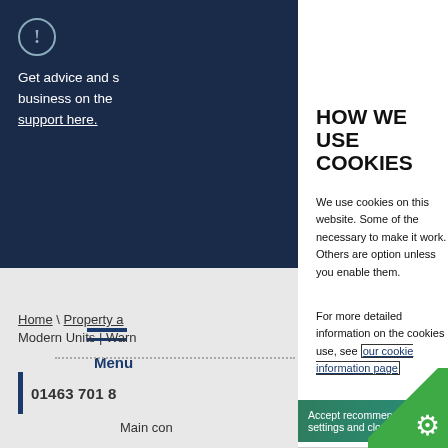Get advice and s business on the support here.
[Figure (screenshot): Menu hamburger icon with 'Menu' label in blue on grey background]
Home \ Property a Modern Units | Warn
01463 701 8
HOW WE USE COOKIES
We use cookies on this website. Some of the necessary to make it work. Others are option unless you enable them.
For more detailed information on the cookies use, see our cookie information page
Accept recommended settings and clo
NECESSARY COOKIES
Necessary cookies are used to ep
Main con